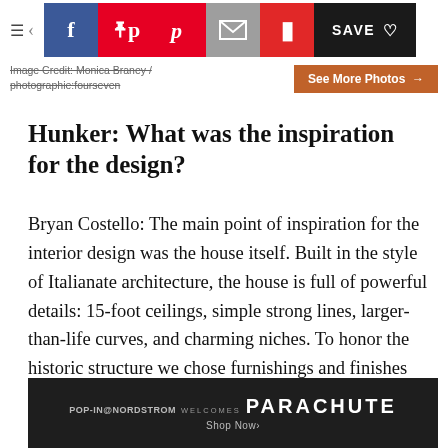Navigation and social sharing bar: hamburger menu, back arrow, Facebook, Pinterest, Email, Flipboard, SAVE
Image Credit: Monica Braney / photographie:fourseven
See More Photos →
Hunker: What was the inspiration for the design?
Bryan Costello: The main point of inspiration for the interior design was the house itself. Built in the style of Italianate architecture, the house is full of powerful details: 15-foot ceilings, simple strong lines, larger-than-life curves, and charming niches. To honor the historic structure we chose furnishings and finishes with the same grand details and soft feelings: low elegant seating, arched brass lighting, and lime wash textur…
[Figure (infographic): Advertisement banner: POP-IN@NORDSTROM welcomes PARACHUTE, Shop Now>]